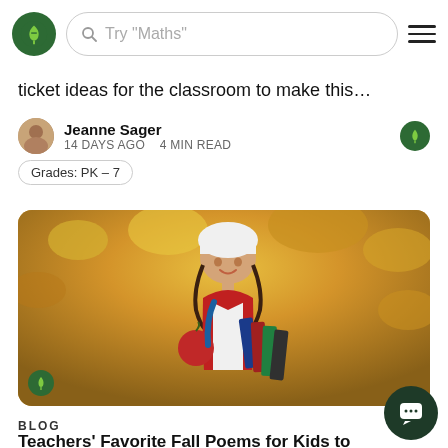Try "Maths"
ticket ideas for the classroom to make this…
Jeanne Sager
14 DAYS AGO   4 MIN READ
Grades: PK – 7
[Figure (photo): Smiling girl wearing white winter hat and red vest, holding an apple and notebooks, with yellow autumn foliage in background. Teach Starter logo badge in bottom left corner.]
BLOG
Teachers' Favorite Fall Poems for Kids to Add to Your Classroom Poetry List